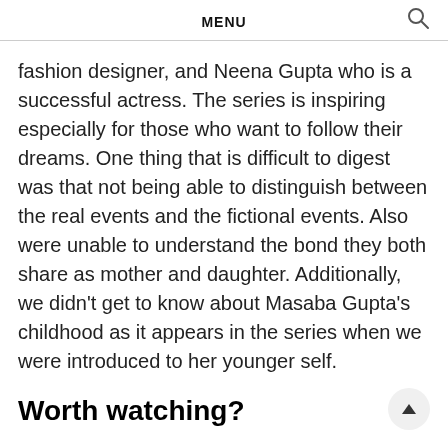MENU
fashion designer, and Neena Gupta who is a successful actress. The series is inspiring especially for those who want to follow their dreams. One thing that is difficult to digest was that not being able to distinguish between the real events and the fictional events. Also were unable to understand the bond they both share as mother and daughter. Additionally, we didn't get to know about Masaba Gupta's childhood as it appears in the series when we were introduced to her younger self.
Worth watching?
It was a very entertaining way to portray a semi-